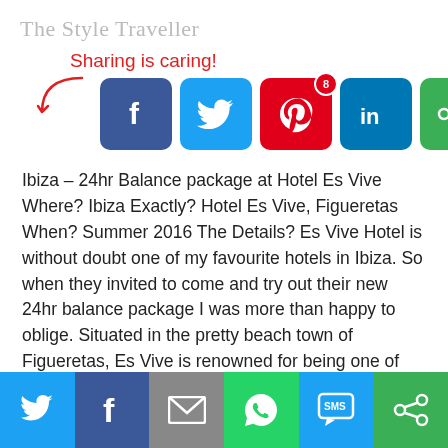The Style Traveller
[Figure (infographic): Sharing is caring! banner with social share buttons: Facebook, Twitter, Pinterest (badge 8), LinkedIn, and a share icon. A curved arrow points to the icons.]
Ibiza – 24hr Balance package at Hotel Es Vive Where? Ibiza Exactly? Hotel Es Vive, Figueretas When? Summer 2016 The Details? Es Vive Hotel is without doubt one of my favourite hotels in Ibiza. So when they invited to come and try out their new 24hr balance package I was more than happy to oblige. Situated in the pretty beach town of Figueretas, Es Vive is renowned for being one of
[Figure (infographic): Bottom social share bar with Twitter, Facebook, Email, WhatsApp, SMS, and share icons on colored backgrounds.]